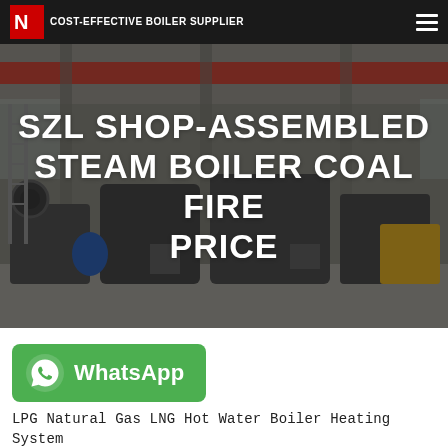COST-EFFECTIVE BOILER SUPPLIER
[Figure (photo): Industrial boiler manufacturing facility interior with large equipment, cranes, and industrial machinery visible on the factory floor]
SZL SHOP-ASSEMBLED STEAM BOILER COAL FIRE PRICE
[Figure (logo): WhatsApp button - green rounded rectangle with WhatsApp icon and text 'WhatsApp']
LPG Natural Gas LNG Hot Water Boiler Heating System